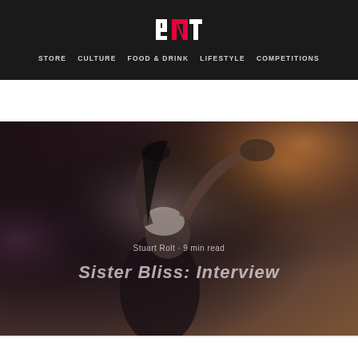BNT — STORE  CULTURE  FOOD & DRINK  LIFESTYLE  COMPETITIONS
[Figure (photo): A woman with light blonde/white hair, arms raised above head holding a dark garment, photographed in dramatic moody lighting with warm orange tones in background. The hero image for a Sister Bliss interview article.]
Stuart Rolt · 9 min read
Sister Bliss: Interview